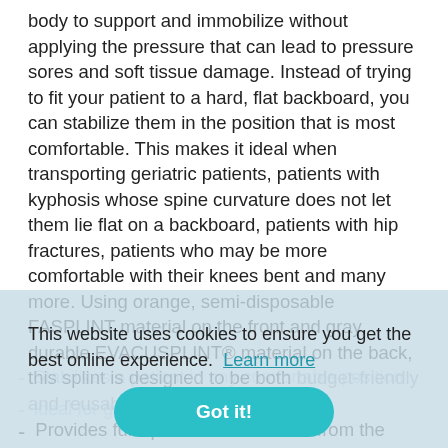body to support and immobilize without applying the pressure that can lead to pressure sores and soft tissue damage. Instead of trying to fit your patient to a hard, flat backboard, you can stabilize them in the position that is most comfortable. This makes it ideal when transporting geriatric patients, patients with kyphosis whose spine curvature does not let them lie flat on a backboard, patients with hip fractures, patients who may be more comfortable with their knees bent and many more. Using orange, semi-disposable FASPLINT material on the front and gray, durable EVACUSPLINT® material on the back, this splint is designed to be both budget-friendly and reusable.
This website uses cookies to ensure you get the best online experience. Learn more
Got it!
Stabilizes a patient in any comfortable position
Ideal for geriatric and transport
Provides full spinal immobilization from the head to